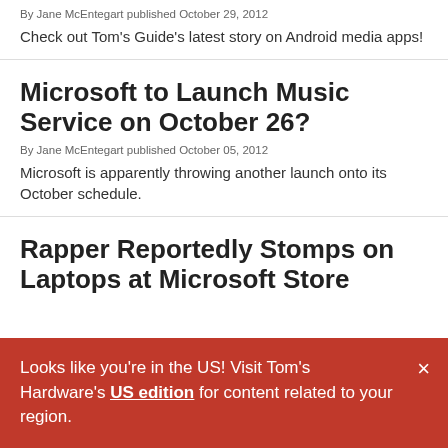By Jane McEntegart published October 29, 2012
Check out Tom's Guide's latest story on Android media apps!
Microsoft to Launch Music Service on October 26?
By Jane McEntegart published October 05, 2012
Microsoft is apparently throwing another launch onto its October schedule.
Rapper Reportedly Stomps on Laptops at Microsoft Store
Looks like you're in the US! Visit Tom's Hardware's US edition for content related to your region.